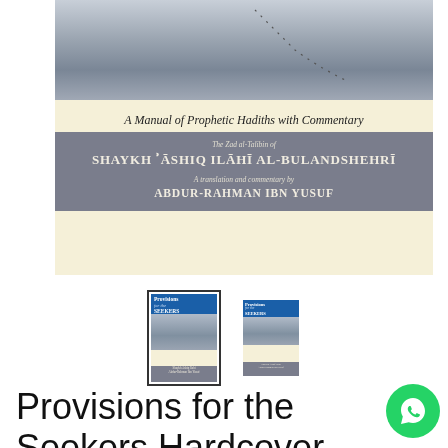[Figure (photo): Book cover for 'Provisions for the Seekers' - top portion showing a gray/blue landscape photo, subtitle 'A Manual of Prophetic Hadiths with Commentary', and author sections on a gray background: 'The Zad al-Talibin of Shaykh Ashiq Ilahi al-Bulandshehri', 'A translation and commentary by Abdur-Rahman Ibn Yusuf']
[Figure (photo): Two thumbnail images of the book cover side by side, the left one selected with a border]
Provisions for the Seekers Hardcover